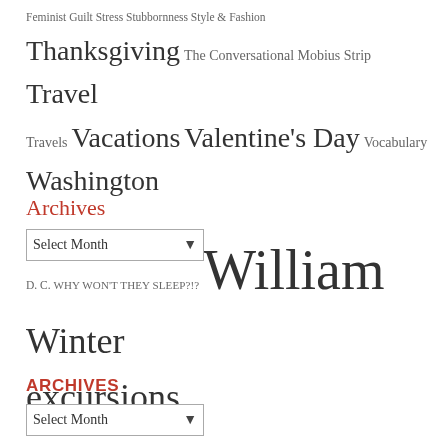Feminist Guilt Stress Stubbornness Style & Fashion Thanksgiving The Conversational Mobius Strip Travel Travels Vacations Valentine's Day Vocabulary Washington D. C. WHY WON'T THEY SLEEP?!? William Winter excursions
Archives
[Figure (screenshot): A dropdown select box labeled 'Select Month' with a down arrow]
ARCHIVES
[Figure (screenshot): A dropdown select box labeled 'Select Month' with a down arrow]